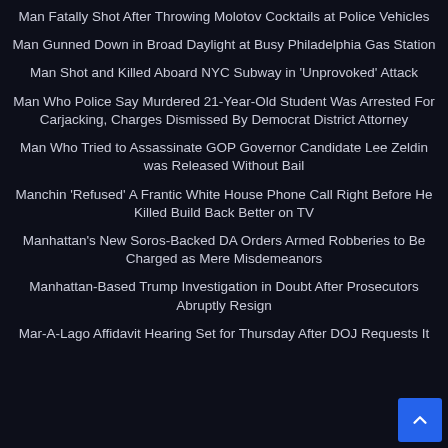Man Fatally Shot After Throwing Molotov Cocktails at Police Vehicles
Man Gunned Down in Broad Daylight at Busy Philadelphia Gas Station
Man Shot and Killed Aboard NYC Subway in 'Unprovoked' Attack
Man Who Police Say Murdered 21-Year-Old Student Was Arrested For Carjacking, Charges Dismissed By Democrat District Attorney
Man Who Tried to Assassinate GOP Governor Candidate Lee Zeldin was Released Without Bail
Manchin 'Refused' A Frantic White House Phone Call Right Before He Killed Build Back Better on TV
Manhattan's New Soros-Backed DA Orders Armed Robberies to Be Charged as Mere Misdemeanors
Manhattan-Based Trump Investigation in Doubt After Prosecutors Abruptly Resign
Mar-A-Lago Affidavit Hearing Set for Thursday After DOJ Requests It